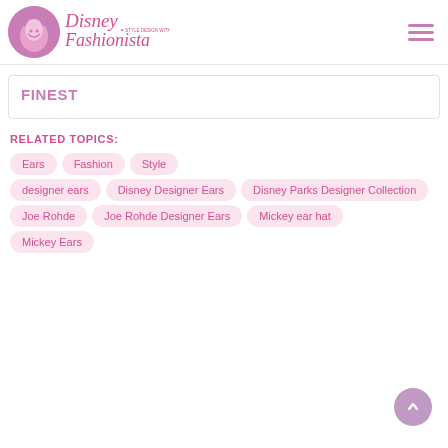Disney Fashionista
FINEST
RELATED TOPICS:
Ears
Fashion
Style
designer ears
Disney Designer Ears
Disney Parks Designer Collection
Joe Rohde
Joe Rohde Designer Ears
Mickey ear hat
Mickey Ears